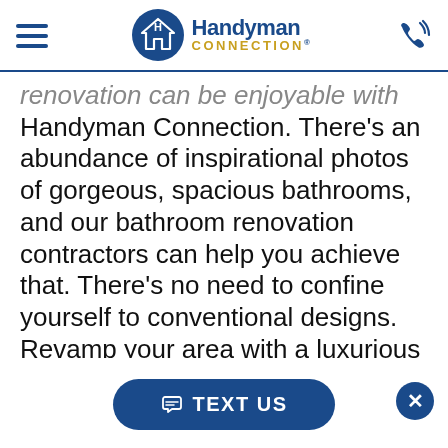[Figure (logo): Handyman Connection logo with hamburger menu and phone icon in page header]
renovation can be enjoyable with Handyman Connection. There’s an abundance of inspirational photos of gorgeous, spacious bathrooms, and our bathroom renovation contractors can help you achieve that. There’s no need to confine yourself to conventional designs. Revamp your area with a luxurious tub or preserve space for a grand shower. Make your bathroom unique by including your
TEXT US